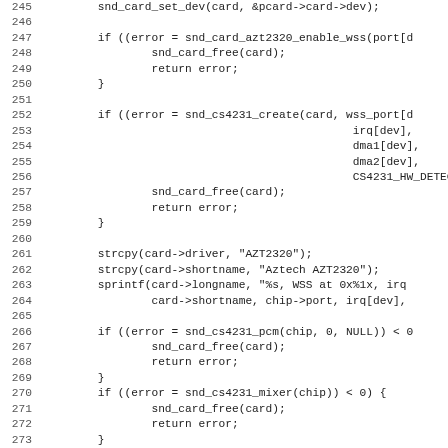[Figure (screenshot): Source code listing showing lines 245-276 of a C kernel driver file for Aztech AZT2320 sound card. Lines include snd_card_set_dev, snd_card_azt2320_enable_wss, snd_cs4231_create, strcpy, sprintf, snd_cs4231_pcm, snd_cs4231_mixer, snd_cs4231_timer function calls with error handling.]